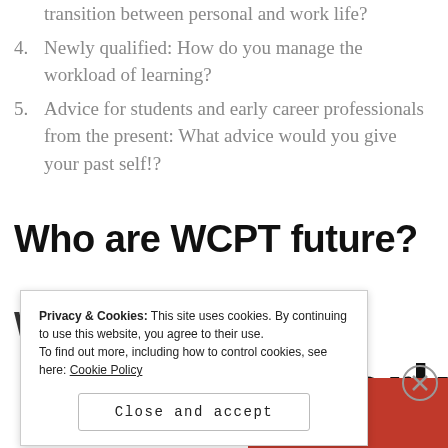transition between personal and work life?
4. Newly qualified: How do you manage the workload of learning?
5. Advice for students and early career professionals from the present: What advice would you give your past self!?
Who are WCPT future?
WCPT Future... work
Privacy & Cookies: This site uses cookies. By continuing to use this website, you agree to their use. To find out more, including how to control cookies, see here: Cookie Policy
Close and accept
else's.